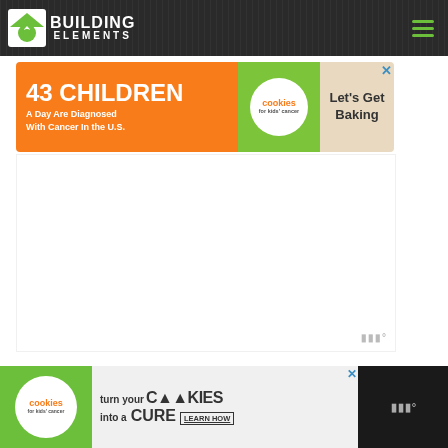Building Elements
[Figure (illustration): Top advertisement banner: '43 CHILDREN A Day Are Diagnosed With Cancer In the U.S.' - Cookies for Kids' Cancer - Let's Get Baking]
[Figure (illustration): Large white rectangular ad space with moat watermark in lower right corner]
[Figure (illustration): Bottom advertisement banner: 'turn your COOKIES into a CURE LEARN HOW' - Cookies for Kids' Cancer]